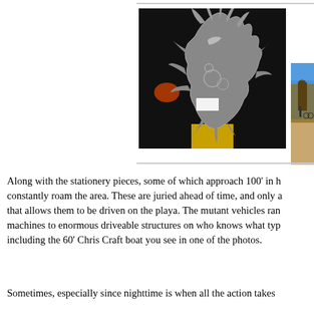[Figure (photo): Metal sculpture with intricate bird/dragon-like form made of welded metal pieces, photographed against dark background]
[Figure (photo): Outdoor daytime photo showing open desert area with structures, bikes and people visible, blue sky with sandy ground]
Along with the stationery pieces, some of which approach 100' in h constantly roam the area. These are juried ahead of time, and only a that allows them to be driven on the playa. The mutant vehicles ran machines to enormous driveable structures on who knows what typ including the 60' Chris Craft boat you see in one of the photos.
Sometimes, especially since nighttime is when all the action takes